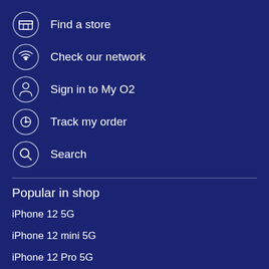Find a store
Check our network
Sign in to My O2
Track my order
Search
Popular in shop
iPhone 12 5G
iPhone 12 mini 5G
iPhone 12 Pro 5G
iPhone 12 Pro Max 5G
Apple Watch Series 6